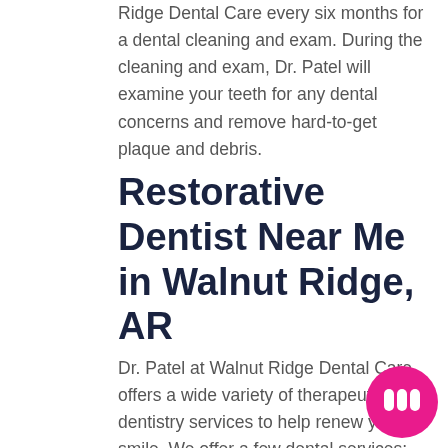Ridge Dental Care every six months for a dental cleaning and exam. During the cleaning and exam, Dr. Patel will examine your teeth for any dental concerns and remove hard-to-get plaque and debris.
Restorative Dentist Near Me in Walnut Ridge, AR
Dr. Patel at Walnut Ridge Dental Care offers a wide variety of therapeutic dentistry services to help renew your smile. We offer a few dental services: dental fillings, tooth crowns, dental implants, and fixed dentures. If you have a dental concern, such as tooth decay or a toothache, call Walnut Ridge Dental Care today!